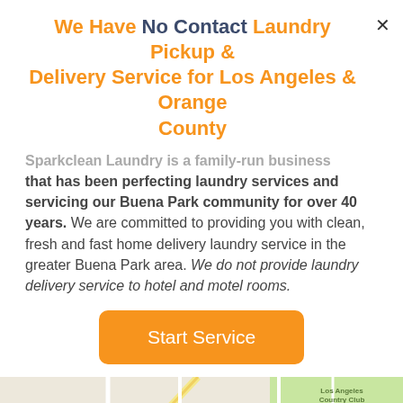We Have No Contact Laundry Pickup & Delivery Service for Los Angeles & Orange County
Sparkclean Laundry is a family-run business that has been perfecting laundry services and servicing our Buena Park community for over 40 years. We are committed to providing you with clean, fresh and fast home delivery laundry service in the greater Buena Park area. We do not provide laundry delivery service to hotel and motel rooms.
[Figure (other): Start Service button - orange rounded rectangle button with white text]
[Figure (map): Google Maps screenshot showing Buena Park area with a blue location pin marker]